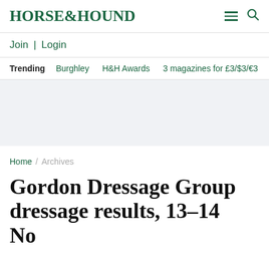HORSE&HOUND
Join | Login
Trending  Burghley  H&H Awards  3 magazines for £3/$3/€3
Home / Archives
Gordon Dressage Group dressage results, 13–14 November